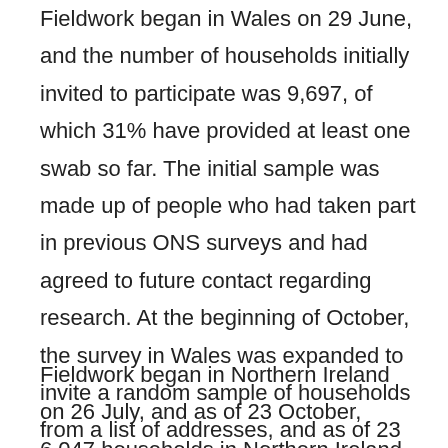Fieldwork began in Wales on 29 June, and the number of households initially invited to participate was 9,697, of which 31% have provided at least one swab so far. The initial sample was made up of people who had taken part in previous ONS surveys and had agreed to future contact regarding research. At the beginning of October, the survey in Wales was expanded to invite a random sample of households from a list of addresses, and as of 23 October, a further 12,696 households have been invited, of which 4% of households have provided at least one swab so far.
Fieldwork began in Northern Ireland on 26 July, and as of 23 October, 6,047 households in Northern Ireland have been invited to participate, of which 36% of